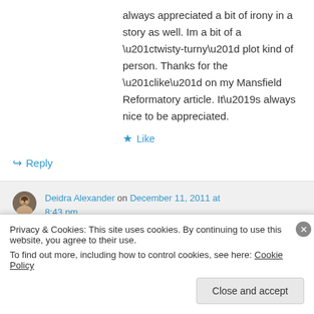always appreciated a bit of irony in a story as well. Im a bit of a “twisty-turny” plot kind of person. Thanks for the “like” on my Mansfield Reformatory article. It’s always nice to be appreciated.
★ Like
↪ Reply
Deidra Alexander on December 11, 2011 at 8:43 pm
Privacy & Cookies: This site uses cookies. By continuing to use this website, you agree to their use.
To find out more, including how to control cookies, see here: Cookie Policy